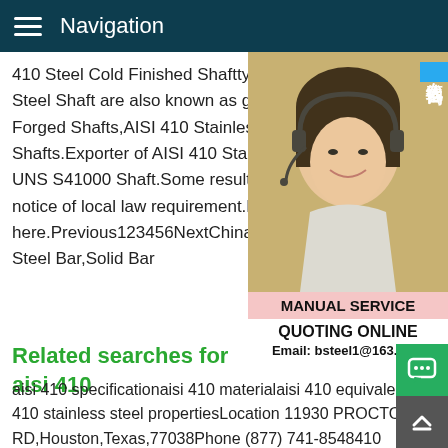Navigation
410 Steel Cold Finished Shafttypes Astm A Steel Shaft are also known as grades 410 Forged Shafts,AISI 410 Stainless Steel Sh Shafts.Exporter of AISI 410 Stainless Stee UNS S41000 Shaft.Some results are remo notice of local law requirement.For more i here.Previous123456NextChina 40CrNiMo Steel Bar,Solid Bar
[Figure (photo): Customer service woman with headset smiling, with a blue badge showing Chinese characters 在线咨询 and a MANUAL SERVICE label below]
QUOTING ONLINE
Email: bsteel1@163.com
Related searches for aisi 410
aisi 410 specificationaisi 410 materialaisi 410 equivalentaisi 410 stainless steel propertiesLocation 11930 PROCTOR RD,Houston,Texas,77038Phone (877) 741-8548410 Stainless Steel,410 SS,Grade 410A major difference is the lower carbon content for this alloy which eliminates the need for post-weld h treating.When a weld filler is needed,AWS E/ER 410,410 NiM